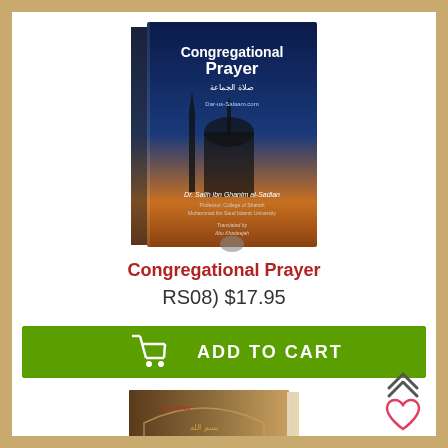[Figure (photo): Book cover of 'Congregational Prayer' by Dr. Salih ibn Ghanim al-Sadlan, featuring a mosque silhouette against a blue sky, with Arabic text and publisher information.]
Congregational Prayer
RS08) $17.95
[Figure (other): Green 'Add to Cart' button with shopping cart icon]
[Figure (photo): Book with brown cover featuring Arabic calligraphy in an ornate arch design.]